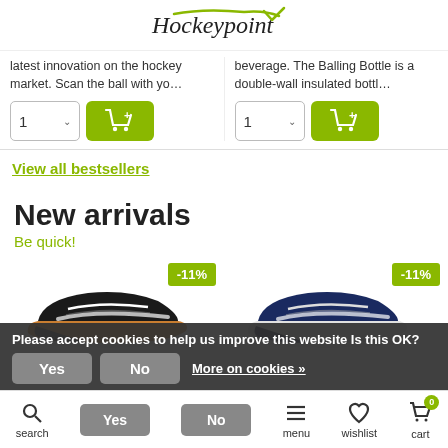Hockeypoint
latest innovation on the hockey market. Scan the ball with yo…
beverage. The Balling Bottle is a double-wall insulated bottl…
View all bestsellers
New arrivals
Be quick!
[Figure (photo): Black hockey shoe with -11% discount badge]
[Figure (photo): Navy blue hockey shoe with -11% discount badge]
Please accept cookies to help us improve this website Is this OK?
search  account  menu  wishlist  cart